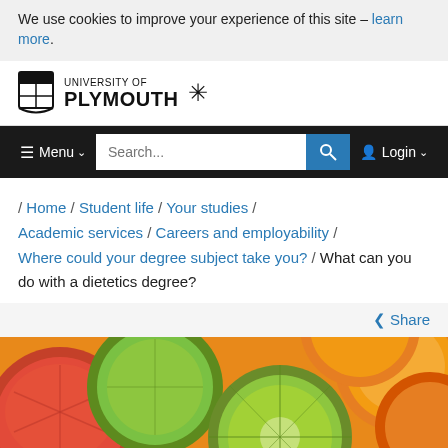We use cookies to improve your experience of this site – learn more.
[Figure (logo): University of Plymouth logo with shield crest and snowflake emblem]
[Figure (screenshot): Navigation bar with Menu, Search, and Login controls]
/ Home / Student life / Your studies / Academic services / Careers and employability / Where could your degree subject take you? / What can you do with a dietetics degree?
Share
[Figure (photo): Close-up photograph of various citrus fruits including limes, grapefruits, and oranges cut in half]